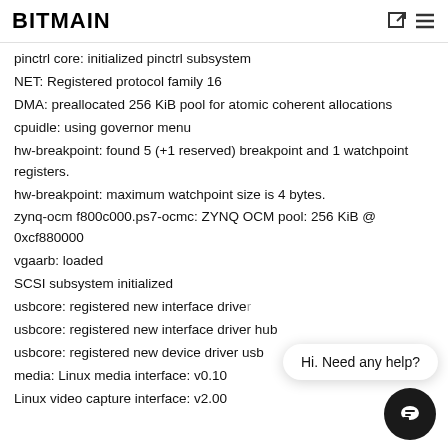BITMAIN
pinctrl core: initialized pinctrl subsystem
NET: Registered protocol family 16
DMA: preallocated 256 KiB pool for atomic coherent allocations
cpuidle: using governor menu
hw-breakpoint: found 5 (+1 reserved) breakpoint and 1 watchpoint registers.
hw-breakpoint: maximum watchpoint size is 4 bytes.
zynq-ocm f800c000.ps7-ocmc: ZYNQ OCM pool: 256 KiB @ 0xcf880000
vgaarb: loaded
SCSI subsystem initialized
usbcore: registered new interface driver
usbcore: registered new interface driver hub
usbcore: registered new device driver usb
media: Linux media interface: v0.10
Linux video capture interface: v2.00